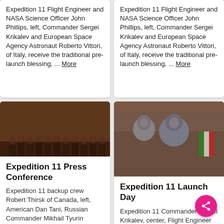Expedition 11 Flight Engineer and NASA Science Officer John Phillips, left, Commander Sergei Krikalev and European Space Agency Astronaut Roberto Vittori, of Italy, receive the traditional pre-launch blessing, ... More
Expedition 11 Flight Engineer and NASA Science Officer John Phillips, left, Commander Sergei Krikalev and European Space Agency Astronaut Roberto Vittori, of Italy, receive the traditional pre-launch blessing, ... More
[Figure (photo): Group photo of people at Expedition 11 Press Conference, dark reddish-brown toned image showing multiple figures standing in a row]
Expedition 11 Press Conference
Expedition 11 backup crew Robert Thirsk of Canada, left, American Dan Tani, Russian Commander Mikhail Tyurin
[Figure (photo): Photo of Expedition 11 Launch Day showing Commander Sergei Krikalev, center, Flight Engineer and NASA Science Officer John Phillips, left, and European Space Agency astronaut]
Expedition 11 Launch Day
Expedition 11 Commander Sergei Krikalev, center, Flight Engineer and NASA Science Officer John Phillips, left, European Space Agency